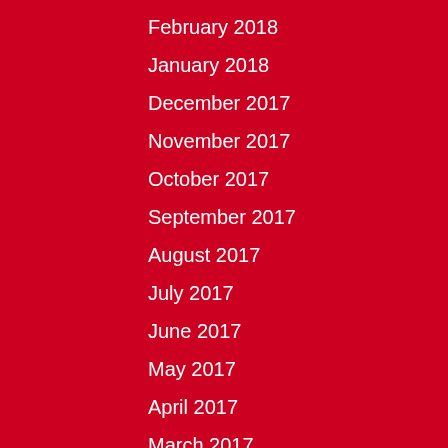February 2018
January 2018
December 2017
November 2017
October 2017
September 2017
August 2017
July 2017
June 2017
May 2017
April 2017
March 2017
February 2017
January 2017
December 2016
November 2016
October 2016
September 2016